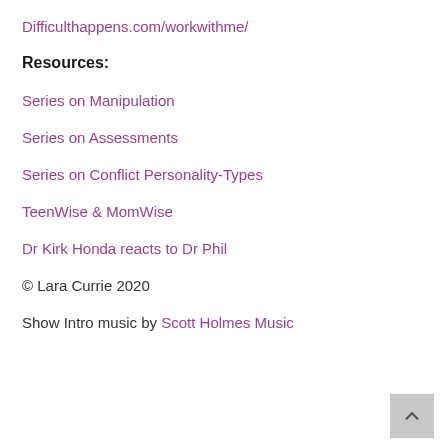Difficulthappens.com/workwithme/
Resources:
Series on Manipulation
Series on Assessments
Series on Conflict Personality-Types
TeenWise & MomWise
Dr Kirk Honda reacts to Dr Phil
© Lara Currie 2020
Show Intro music by Scott Holmes Music